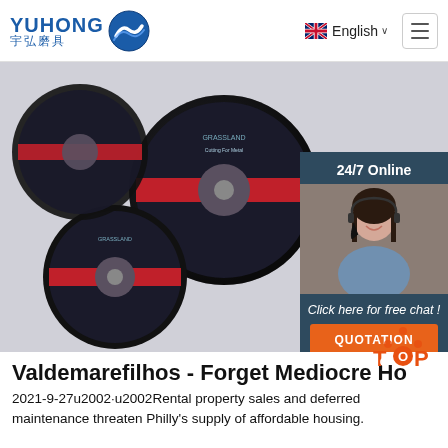YUHONG 宇弘磨具 | English
[Figure (photo): Hero image showing multiple black and blue grinding/cutting discs (Grassland brand) arranged on a white-gray background, with a customer support agent panel on the right side showing '24/7 Online', a woman with headset, 'Click here for free chat!' and an orange QUOTATION button.]
Valdemarefilhos - Forget Mediocre Ho
2021-9-27u2002·u2002Rental property sales and deferred maintenance threaten Philly's supply of affordable housing.